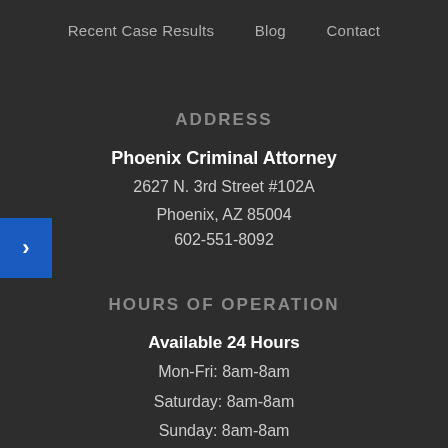Recent Case Results   Blog   Contact
ADDRESS
Phoenix Criminal Attorney
2627 N. 3rd Street #102A
Phoenix, AZ 85004
602-551-8092
HOURS OF OPERATION
Available 24 Hours
Mon-Fri: 8am-8am
Saturday: 8am-8am
Sunday: 8am-8am